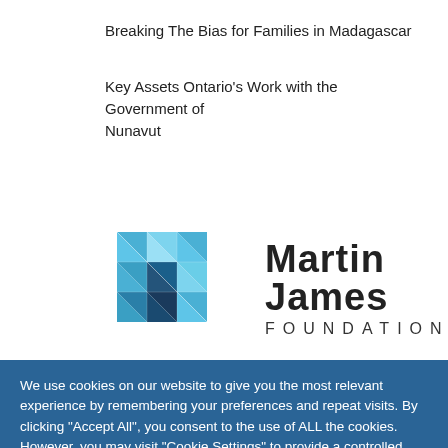Breaking The Bias for Families in Madagascar
Key Assets Ontario's Work with the Government of Nunavut
[Figure (logo): Martin James Foundation logo: geometric M shape made of blue triangular facets on the left, with 'Martin James' in bold and 'FOUNDATION' in spaced capitals on the right. Below: 'PART OF THE MARTIN JAMES NETWORK' in small grey text with a horizontal divider line.]
We use cookies on our website to give you the most relevant experience by remembering your preferences and repeat visits. By clicking "Accept All", you consent to the use of ALL the cookies. However, you may visit "Cookie Settings" to provide a controlled consent.
Cookie Settings
Accept All